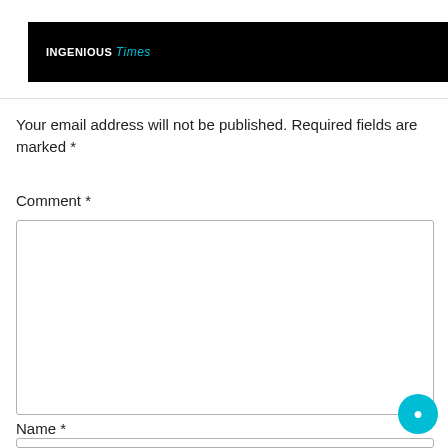[Figure (logo): Black header bar with 'INGENIOUS' in white uppercase text and a stylized word in teal/cyan italic next to it]
Your email address will not be published. Required fields are marked *
Comment *
[Figure (screenshot): Empty comment textarea input box with resize handle]
Name *